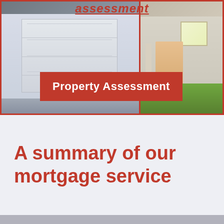[Figure (photo): Photo of two suburban houses side by side — left house with white garage door, right house with yellow-lit door and green lawn. Red border overlays both houses. Red banner overlay reads 'Property Assessment'. Partial italic red text 'assessment' visible at top.]
A summary of our mortgage service